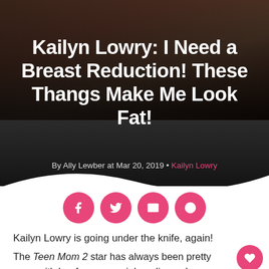Kailyn Lowry: I Need a Breast Reduction! These Thangs Make Me Look Fat!
By Ally Lewber at Mar 20, 2019 • Kailyn Lowry
[Figure (infographic): Four pink circular social share buttons: Facebook (f), Twitter (bird), Email (envelope), Reddit (alien)]
Kailyn Lowry is going under the knife, again!
The Teen Mom 2 star has always been pretty open with her fans on social media, and on Monday Kailyn took to Twitter to reveal that she will be getting a breast reduction surgery.